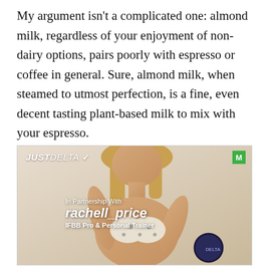My argument isn't a complicated one: almond milk, regardless of your enjoyment of non-dairy options, pairs poorly with espresso or coffee in general. Sure, almond milk, when steamed to utmost perfection, is a fine, even decent tasting plant-based milk to mix with your espresso.
[Figure (photo): Advertisement for JustDelta featuring a woman in a leopard print bikini top holding a product. Text overlay reads 'In Partnership With rachell_price IFBB Pro & Personal Trainer'. Green M badge in upper right corner.]